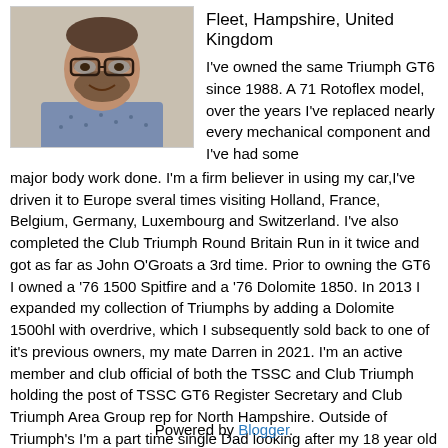[Figure (photo): Profile photo of a man with glasses and a beard, wearing a patterned shirt, facing the camera with a slight smile.]
Fleet, Hampshire, United Kingdom
I've owned the same Triumph GT6 since 1988. A 71 Rotoflex model, over the years I've replaced nearly every mechanical component and I've had some major body work done. I'm a firm believer in using my car,I've driven it to Europe sveral times visiting Holland, France, Belgium, Germany, Luxembourg and Switzerland. I've also completed the Club Triumph Round Britain Run in it twice and got as far as John O'Groats a 3rd time. Prior to owning the GT6 I owned a '76 1500 Spitfire and a '76 Dolomite 1850. In 2013 I expanded my collection of Triumphs by adding a Dolomite 1500hl with overdrive, which I subsequently sold back to one of it's previous owners, my mate Darren in 2021. I'm an active member and club official of both the TSSC and Club Triumph holding the post of TSSC GT6 Register Secretary and Club Triumph Area Group rep for North Hampshire. Outside of Triumph's I'm a part time single Dad looking after my 18 year old Daughter Georgie during term time whilst my 20 year old son James is away at Uni.
View my complete profile
Powered by Blogger.